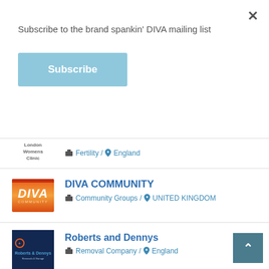Subscribe to the brand spankin' DIVA mailing list
Subscribe
[Figure (logo): London Womens Clinic logo - partial]
Fertility / England
[Figure (logo): DIVA Community logo - orange/red gradient with DIVA text]
DIVA COMMUNITY
Community Groups / UNITED KINGDOM
[Figure (logo): Roberts and Dennys logo - dark navy background]
Roberts and Dennys
Removal Company / England
[Figure (logo): CREATE Fertility logo - green leaf symbol]
CREATE Fertility
Fertility / England